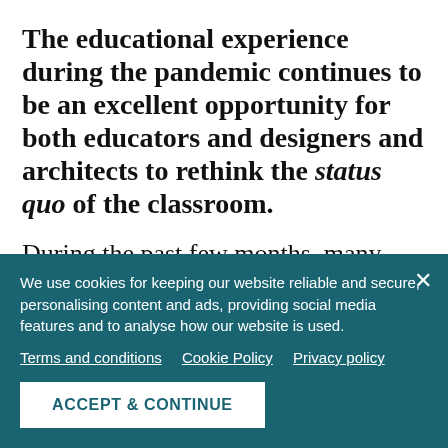The educational experience during the pandemic continues to be an excellent opportunity for both educators and designers and architects to rethink the status quo of the classroom.
During the past few months, many schools have been doing all sorts of renovation works to make sure they will be opening their doors offering an improved infrastructure for
We use cookies for keeping our website reliable and secure, personalising content and ads, providing social media features and to analyse how our website is used.
Terms and conditions   Cookie Policy   Privacy policy
ACCEPT & CONTINUE